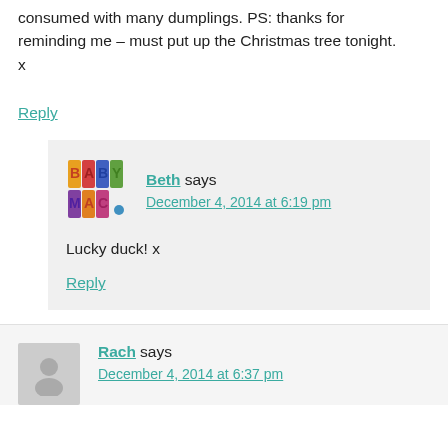consumed with many dumplings. PS: thanks for reminding me – must put up the Christmas tree tonight.
x
Reply
[Figure (logo): BabyMac blog logo with colorful block letters]
Beth says
December 4, 2014 at 6:19 pm
Lucky duck! x
Reply
Rach says
December 4, 2014 at 6:37 pm